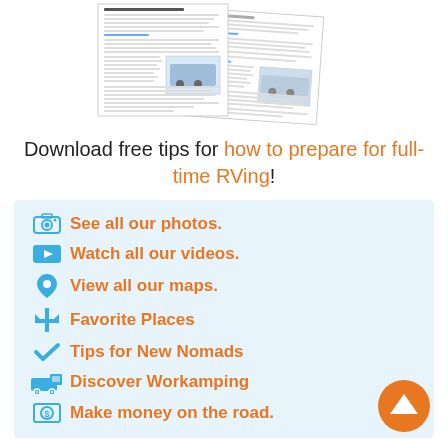[Figure (screenshot): Thumbnail images of printed document pages about RVing tips]
Download free tips for how to prepare for full-time RVing!
See all our photos.
Watch all our videos.
View all our maps.
Favorite Places
Tips for New Nomads
Discover Workamping
Make money on the road.